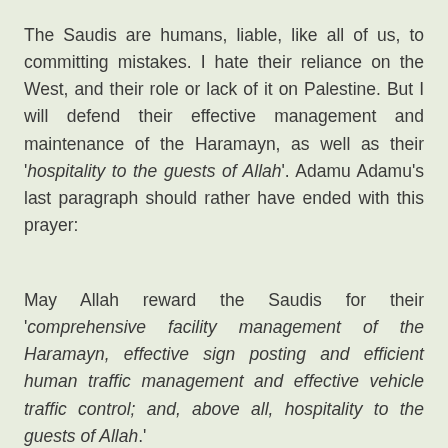The Saudis are humans, liable, like all of us, to committing mistakes. I hate their reliance on the West, and their role or lack of it on Palestine. But I will defend their effective management and maintenance of the Haramayn, as well as their 'hospitality to the guests of Allah'. Adamu Adamu's last paragraph should rather have ended with this prayer:
May Allah reward the Saudis for their 'comprehensive facility management of the Haramayn, effective sign posting and efficient human traffic management and effective vehicle traffic control; and, above all, hospitality to the guests of Allah.'